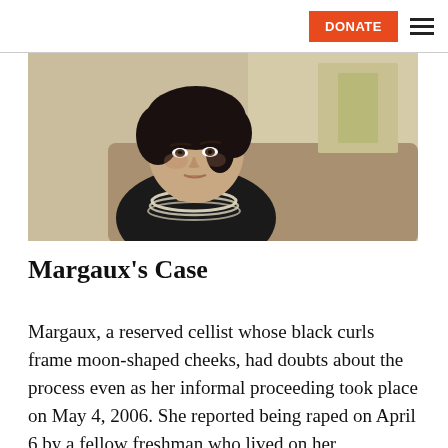DONATE ≡
[Figure (photo): A young woman with black curly hair framing moon-shaped cheeks, wearing a black top and a layered light-colored necklace, seated on a couch in an indoor setting. Video still or photograph.]
Margaux's Case
Margaux, a reserved cellist whose black curls frame moon-shaped cheeks, had doubts about the process even as her informal proceeding took place on May 4, 2006. She reported being raped on April 6 by a fellow freshman who lived on her